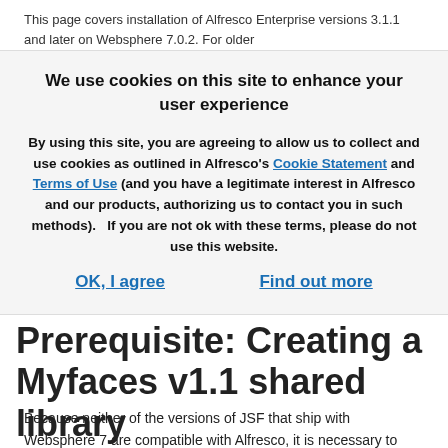This page covers installation of Alfresco Enterprise versions 3.1.1 and later on Websphere 7.0.2. For older
We use cookies on this site to enhance your user experience
By using this site, you are agreeing to allow us to collect and use cookies as outlined in Alfresco's Cookie Statement and Terms of Use (and you have a legitimate interest in Alfresco and our products, authorizing us to contact you in such methods).   If you are not ok with these terms, please do not use this website.
OK, I agree
Find out more
Prerequisite: Creating a Myfaces v1.1 shared library
Because neither of the versions of JSF that ship with Websphere 7 are compatible with Alfresco, it is necessary to define a new isolated shared library in